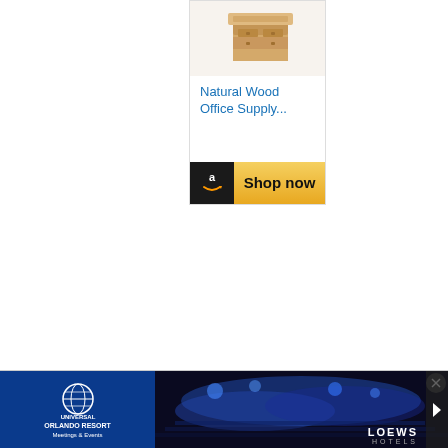[Figure (infographic): Amazon advertisement showing a natural wood office supply organizer product. The ad contains a product image of a wooden desktop organizer with drawers at the top, a blue product title 'Natural Wood Office Supply...', empty space, and a golden 'Shop now' button with the Amazon logo on the left side.]
[Figure (infographic): Bottom banner advertisement featuring Universal Orlando Resort on the left with blue background and globe logo, and Loews Hotels on the right with a dark background showing an arena/event space with blue lighting. The banner includes a close/X button, a skip arrow, and navigation arrows.]